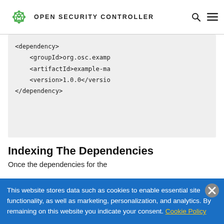OPEN SECURITY CONTROLLER
<dependency>
    <groupId>org.osc.examp
    <artifactId>example-ma
    <version>1.0.0</versio
</dependency>
Indexing The Dependencies
Once the dependencies for the
This website stores data such as cookies to enable essential site functionality, as well as marketing, personalization, and analytics. By remaining on this website you indicate your consent. Cookie Policy